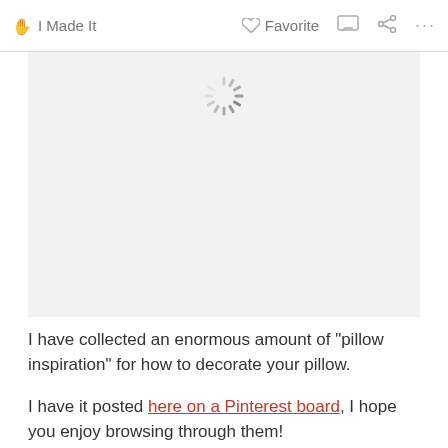✋ I Made It   ♥ Favorite   💬   ⋮⋮   ...
[Figure (screenshot): Loading spinner icon on a light gray rectangular image placeholder area]
I have collected an enormous amount of "pillow inspiration" for how to decorate your pillow.
I have it posted here on a Pinterest board, I hope you enjoy browsing through them!
I know I cannot wait to make more. I was thinking to